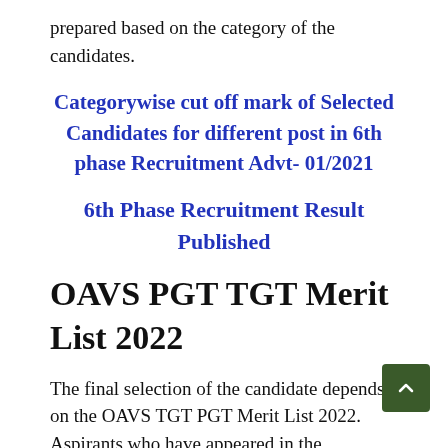prepared based on the category of the candidates.
Categorywise cut off mark of Selected Candidates for different post in 6th phase Recruitment Advt- 01/2021
6th Phase Recruitment Result Published
OAVS PGT TGT Merit List 2022
The final selection of the candidate depends on the OAVS TGT PGT Merit List 2022. Aspirants who have appeared in the